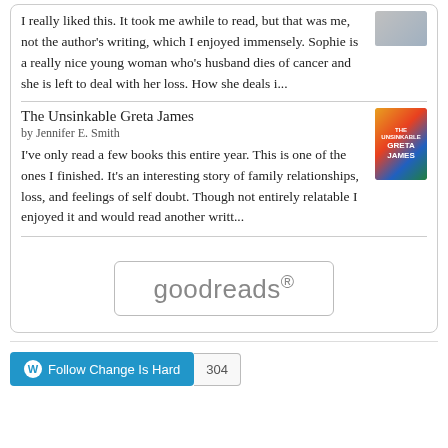I really liked this. It took me awhile to read, but that was me, not the author's writing, which I enjoyed immensely. Sophie is a really nice young woman who's husband dies of cancer and she is left to deal with her loss. How she deals i...
The Unsinkable Greta James
by Jennifer E. Smith
I've only read a few books this entire year. This is one of the ones I finished. It's an interesting story of family relationships, loss, and feelings of self doubt. Though not entirely relatable I enjoyed it and would read another writt...
[Figure (logo): goodreads logo/button with rounded rectangle border]
[Figure (other): Follow Change Is Hard button with WordPress icon and follower count 304]